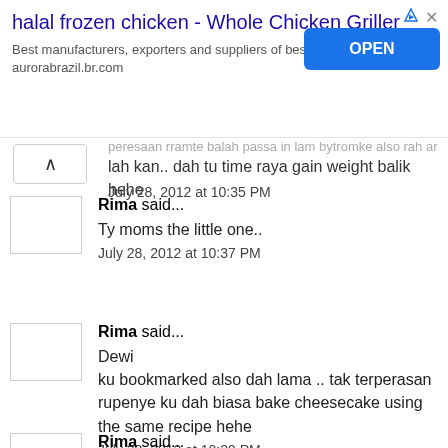[Figure (screenshot): Advertisement banner for halal frozen chicken product with OPEN button]
lah kan.. dah tu time raya gain weight balik hehe
July 28, 2012 at 10:35 PM
Rima said...
Ty moms the little one..
July 28, 2012 at 10:37 PM
Rima said...
Dewi
ku bookmarked also dah lama .. tak terperasan rupenye ku dah biasa bake cheesecake using the same recipe hehe
July 28, 2012 at 10:39 PM
Rima said...
shuwet